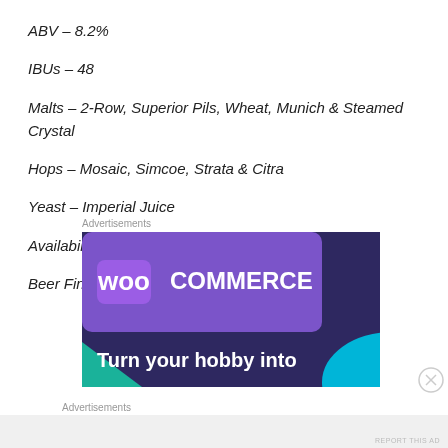ABV – 8.2%
IBUs – 48
Malts – 2-Row, Superior Pils, Wheat, Munich & Steamed Crystal
Hops – Mosaic, Simcoe, Strata & Citra
Yeast – Imperial Juice
Availability – 4-packs of 16 oz. cans & draft
Beer Finder – https://www.rogue.com/#find-us
Advertisements
[Figure (illustration): WooCommerce advertisement banner showing purple gradient background with WooCommerce logo and text 'Turn your hobby into']
Advertisements
REPORT THIS AD